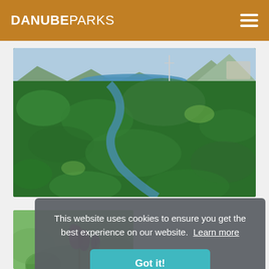DANUBEPARKS
[Figure (photo): Aerial view of dense green forest with a river winding through it, mountains visible in the background under a clear sky.]
[Figure (photo): Partial view of a meadow with purple wildflowers in the foreground, blurred green background.]
This website uses cookies to ensure you get the best experience on our website.  Learn more
Got it!